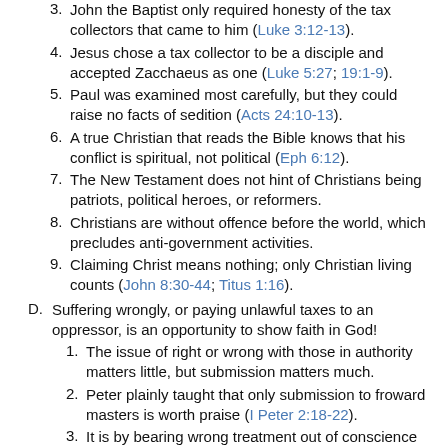3. John the Baptist only required honesty of the tax collectors that came to him (Luke 3:12-13).
4. Jesus chose a tax collector to be a disciple and accepted Zacchaeus as one (Luke 5:27; 19:1-9).
5. Paul was examined most carefully, but they could raise no facts of sedition (Acts 24:10-13).
6. A true Christian that reads the Bible knows that his conflict is spiritual, not political (Eph 6:12).
7. The New Testament does not hint of Christians being patriots, political heroes, or reformers.
8. Christians are without offence before the world, which precludes anti-government activities.
9. Claiming Christ means nothing; only Christian living counts (John 8:30-44; Titus 1:16).
D. Suffering wrongly, or paying unlawful taxes to an oppressor, is an opportunity to show faith in God!
1. The issue of right or wrong with those in authority matters little, but submission matters much.
2. Peter plainly taught that only submission to froward masters is worth praise (I Peter 2:18-22).
3. It is by bearing wrong treatment out of conscience toward God that we show our faith in